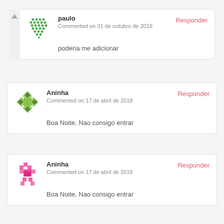paulo
Commented on 31 de outubro de 2018
poderia me adicionar
Responder
Aninha
Commented on 17 de abril de 2018
Boa Noite, Nao consigo entrar
Responder
Aninha
Commented on 17 de abril de 2018
Boa Noite, Nao consigo entrar
Responder